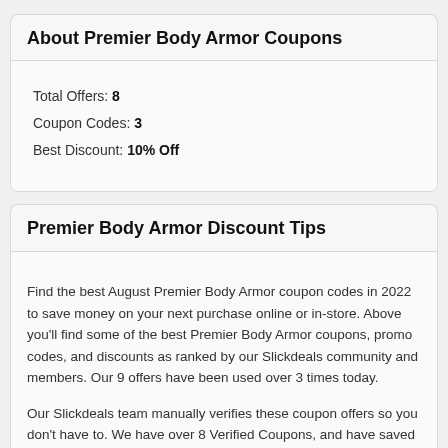About Premier Body Armor Coupons
Total Offers: 8
Coupon Codes: 3
Best Discount: 10% Off
Premier Body Armor Discount Tips
Find the best August Premier Body Armor coupon codes in 2022 to save money on your next purchase online or in-store. Above you'll find some of the best Premier Body Armor coupons, promo codes, and discounts as ranked by our Slickdeals community and members. Our 9 offers have been used over 3 times today.
Our Slickdeals team manually verifies these coupon offers so you don't have to. We have over 8 Verified Coupons, and have saved our members 20%. We have 1 coupons and